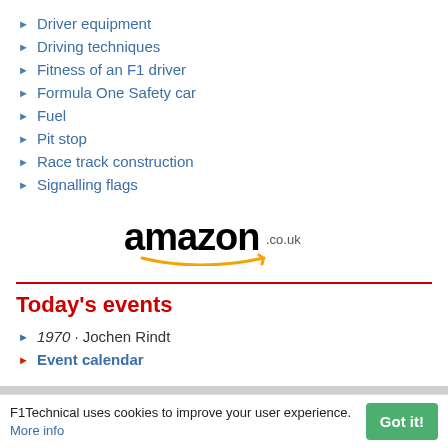Driver equipment
Driving techniques
Fitness of an F1 driver
Formula One Safety car
Fuel
Pit stop
Race track construction
Signalling flags
[Figure (logo): Amazon.co.uk logo with smile arrow]
Today's events
1970 · Jochen Rindt
Event calendar
F1Technical uses cookies to improve your user experience. More info